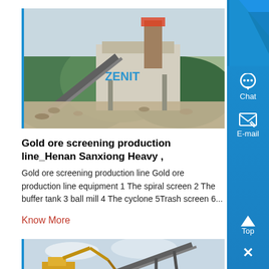[Figure (photo): Industrial mining/crushing plant facility with green hills in background, 'ZENIT' branding visible on building, conveyor belts and machinery visible]
Gold ore screening production line_Henan Sanxiong Heavy ,
Gold ore screening production line Gold ore production line equipment 1 The spiral screen 2 The buffer tank 3 ball mill 4 The cyclone 5Trash screen 6...
Know More
[Figure (photo): Construction site with excavator/crane and conveyor equipment against cloudy sky]